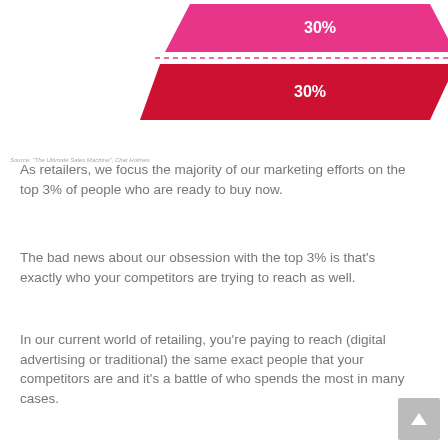[Figure (infographic): Partial pyramid/funnel diagram showing two layers each labeled 30%, top layer in pink/magenta and second layer in red/crimson, representing buyer readiness segments.]
Source: 'The Ultimate Sales Machine', Chet Holmes
As retailers, we focus the majority of our marketing efforts on the top 3% of people who are ready to buy now.
The bad news about our obsession with the top 3% is that's exactly who your competitors are trying to reach as well.
In our current world of retailing, you're paying to reach (digital advertising or traditional) the same exact people that your competitors are and it's a battle of who spends the most in many cases.